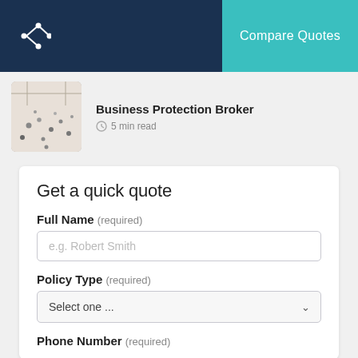Compare Quotes
[Figure (screenshot): Thumbnail image of people in a large open space viewed from above]
Business Protection Broker
5 min read
Get a quick quote
Full Name (required)
e.g. Robert Smith
Policy Type (required)
Select one ...
Phone Number (required)